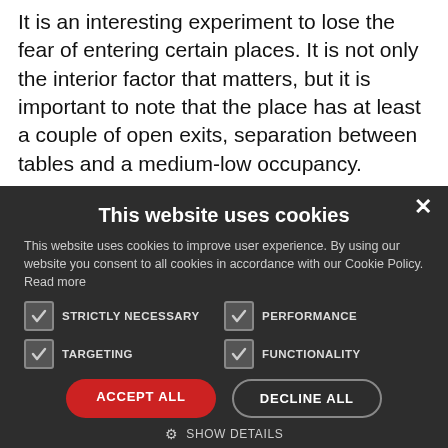It is an interesting experiment to lose the fear of entering certain places. It is not only the interior factor that matters, but it is important to note that the place has at least a couple of open exits, separation between tables and a medium-low occupancy.
“My impression is that closed places with little
This website uses cookies
This website uses cookies to improve user experience. By using our website you consent to all cookies in accordance with our Cookie Policy. Read more
STRICTLY NECESSARY
PERFORMANCE
TARGETING
FUNCTIONALITY
ACCEPT ALL
DECLINE ALL
SHOW DETAILS